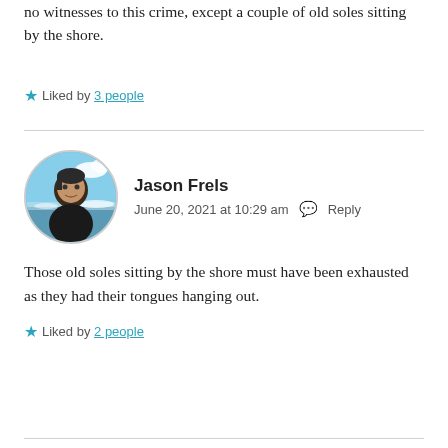no witnesses to this crime, except a couple of old soles sitting by the shore.
Liked by 3 people
Jason Frels
June 20, 2021 at 10:29 am  Reply
Those old soles sitting by the shore must have been exhausted as they had their tongues hanging out.
Liked by 2 people